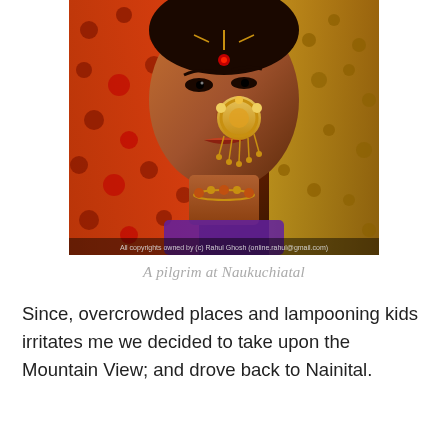[Figure (photo): Close-up portrait of an Indian woman in traditional attire, wearing ornate gold nose jewelry (nath) and a red/orange dupatta with polka dots. She has jeweled accessories and is looking directly at the camera. A watermark at the bottom reads: All copyrights owned by (c) Rahul Ghosh (online.rahul@gmail.com)]
A pilgrim at Naukuchiatal
Since, overcrowded places and lampooning kids irritates me we decided to take upon the Mountain View; and drove back to Nainital.